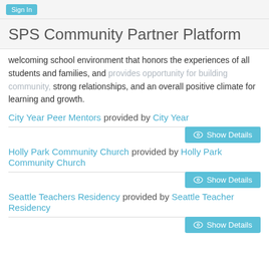Sign In
SPS Community Partner Platform
welcoming school environment that honors the experiences of all students and families, and provides opportunity for building community, strong relationships, and an overall positive climate for learning and growth.
City Year Peer Mentors provided by City Year
Holly Park Community Church provided by Holly Park Community Church
Seattle Teachers Residency provided by Seattle Teacher Residency